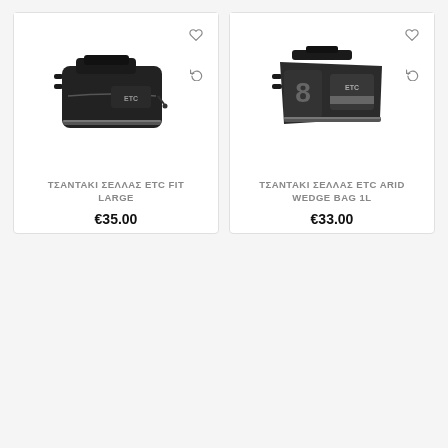[Figure (photo): Product image of ΤΣΑΝΤΑΚΙ ΣΕΛΛΑΣ ETC FIT LARGE – a large black saddle bag with ETC branding and reflective strip]
ΤΣΑΝΤΑΚΙ ΣΕΛΛΑΣ ETC FIT LARGE
€35.00
[Figure (photo): Product image of ΤΣΑΝΤΑΚΙ ΣΕΛΛΑΣ ETC ARID WEDGE BAG 1L – a compact black saddle wedge bag with grey accents and ETC branding]
ΤΣΑΝΤΑΚΙ ΣΕΛΛΑΣ ETC ARID WEDGE BAG 1L
€33.00